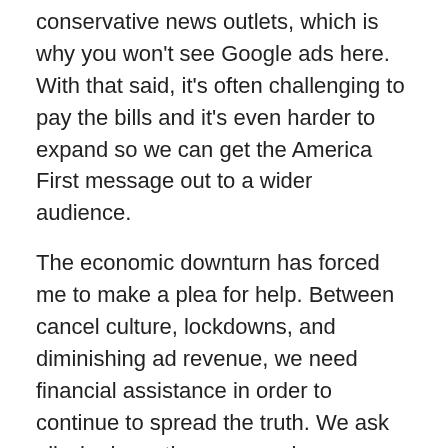conservative news outlets, which is why you won't see Google ads here. With that said, it's often challenging to pay the bills and it's even harder to expand so we can get the America First message out to a wider audience.
The economic downturn has forced me to make a plea for help. Between cancel culture, lockdowns, and diminishing ad revenue, we need financial assistance in order to continue to spread the truth. We ask all who have the means, please donate through our new GiveSendGo. Your generosity is what keeps these sites running and allows us to expand our reach so the truth can get to the masses. We've had great success in growing but we know we can do more with your assistance.
We currently operate:
NOQ Report